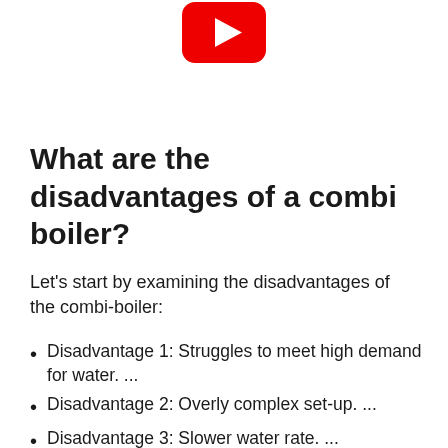[Figure (logo): YouTube logo — red rounded rectangle with white play triangle]
What are the disadvantages of a combi boiler?
Let's start by examining the disadvantages of the combi-boiler:
Disadvantage 1: Struggles to meet high demand for water. ...
Disadvantage 2: Overly complex set-up. ...
Disadvantage 3: Slower water rate. ...
Disadvantage 4: If a combi-boiler